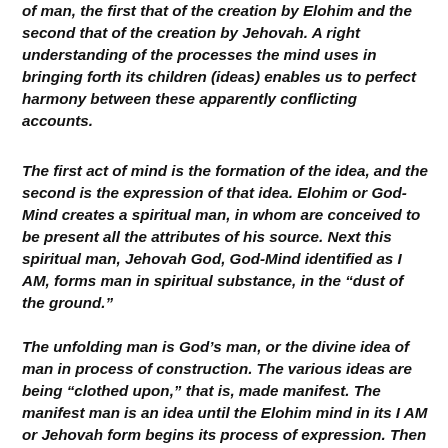of man, the first that of the creation by Elohim and the second that of the creation by Jehovah. A right understanding of the processes the mind uses in bringing forth its children (ideas) enables us to perfect harmony between these apparently conflicting accounts.
The first act of mind is the formation of the idea, and the second is the expression of that idea. Elohim or God-Mind creates a spiritual man, in whom are conceived to be present all the attributes of his source. Next this spiritual man, Jehovah God, God-Mind identified as I AM, forms man in spiritual substance, in the “dust of the ground.”
The unfolding man is God’s man, or the divine idea of man in process of construction. The various ideas are being “clothed upon,” that is, made manifest. The manifest man is an idea until the Elohim mind in its I AM or Jehovah form begins its process of expression. Then Jehovah God begins to form or